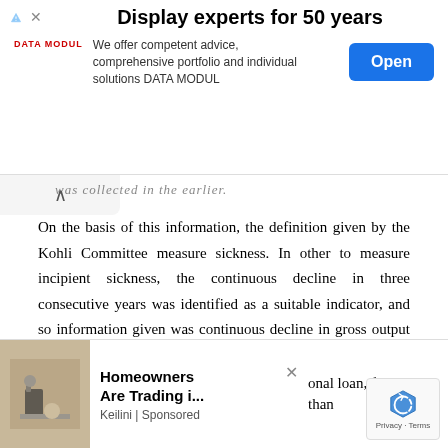[Figure (other): Advertisement banner: 'Display experts for 50 years' by DATA MODUL with Open button]
On the basis of this information, the definition given by the Kohli Committee measure sickness. In other to measure incipient sickness, the continuous decline in three consecutive years was identified as a suitable indicator, and so information given was continuous decline in gross output compared to the previous two financial data collected.
Thus, the following criteria was adapted to identify sick/ incipient sick census:
(i) Continuous decline in gross output compared to the previous
[Figure (other): Bottom advertisement overlay: 'Homeowners Are Trading i...' by Keilini | Sponsored, with partial text about personal loan for more than]
[Figure (other): reCAPTCHA Privacy - Terms badge]